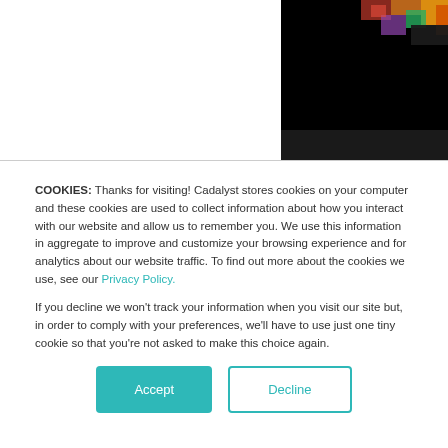[Figure (photo): Dark image with colorful elements visible in upper right corner, appears to be a website screenshot background]
COOKIES: Thanks for visiting! Cadalyst stores cookies on your computer and these cookies are used to collect information about how you interact with our website and allow us to remember you. We use this information in aggregate to improve and customize your browsing experience and for analytics about our website traffic. To find out more about the cookies we use, see our Privacy Policy.
If you decline we won't track your information when you visit our site but, in order to comply with your preferences, we'll have to use just one tiny cookie so that you're not asked to make this choice again.
Accept
Decline